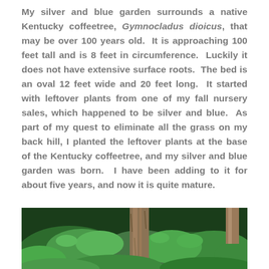My silver and blue garden surrounds a native Kentucky coffeetree, Gymnocladus dioicus, that may be over 100 years old. It is approaching 100 feet tall and is 8 feet in circumference. Luckily it does not have extensive surface roots. The bed is an oval 12 feet wide and 20 feet long. It started with leftover plants from one of my fall nursery sales, which happened to be silver and blue. As part of my quest to eliminate all the grass on my back hill, I planted the leftover plants at the base of the Kentucky coffeetree, and my silver and blue garden was born. I have been adding to it for about five years, and now it is quite mature.
[Figure (photo): Photograph of a garden at the base of a Kentucky coffeetree, showing lush green foliage and the tree trunk]